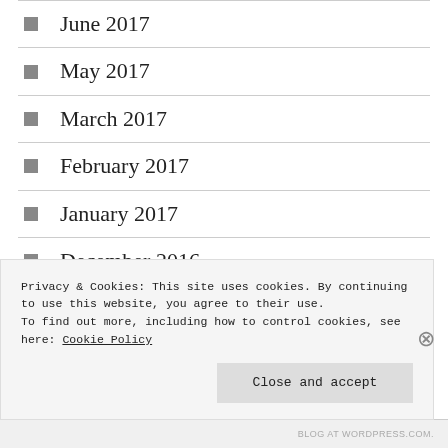June 2017
May 2017
March 2017
February 2017
January 2017
December 2016
November 2016
Privacy & Cookies: This site uses cookies. By continuing to use this website, you agree to their use.
To find out more, including how to control cookies, see here: Cookie Policy
BLOG AT WORDPRESS.COM.